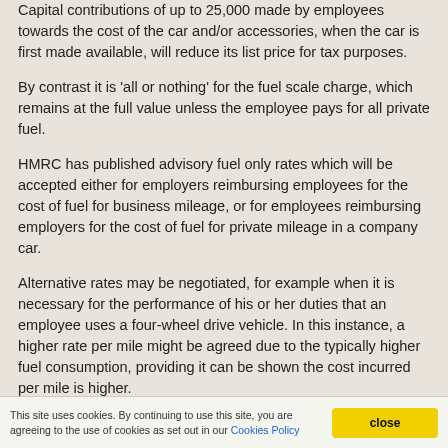Capital contributions of up to 25,000 made by employees towards the cost of the car and/or accessories, when the car is first made available, will reduce its list price for tax purposes.
By contrast it is 'all or nothing' for the fuel scale charge, which remains at the full value unless the employee pays for all private fuel.
HMRC has published advisory fuel only rates which will be accepted either for employers reimbursing employees for the cost of fuel for business mileage, or for employees reimbursing employers for the cost of fuel for private mileage in a company car.
Alternative rates may be negotiated, for example when it is necessary for the performance of his or her duties that an employee uses a four-wheel drive vehicle. In this instance, a higher rate per mile might be agreed due to the typically higher fuel consumption, providing it can be shown the cost incurred per mile is higher.
This site uses cookies. By continuing to use this site, you are agreeing to the use of cookies as set out in our Cookies Policy